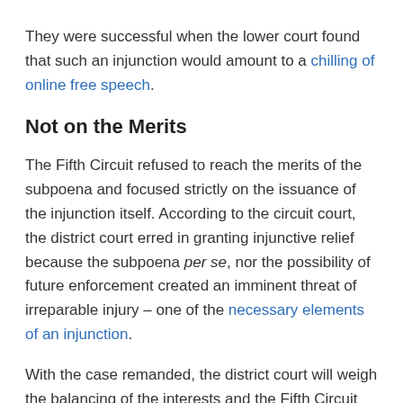They were successful when the lower court found that such an injunction would amount to a chilling of online free speech.
Not on the Merits
The Fifth Circuit refused to reach the merits of the subpoena and focused strictly on the issuance of the injunction itself. According to the circuit court, the district court erred in granting injunctive relief because the subpoena per se, nor the possibility of future enforcement created an imminent threat of irreparable injury – one of the necessary elements of an injunction.
With the case remanded, the district court will weigh the balancing of the interests and the Fifth Circuit can set the standards to Google's search engine powers.